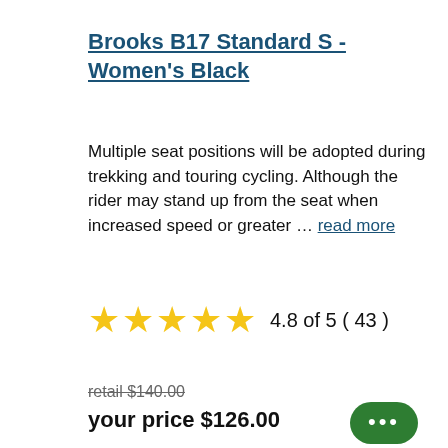Brooks B17 Standard S - Women's Black
Multiple seat positions will be adopted during trekking and touring cycling. Although the rider may stand up from the seat when increased speed or greater … read more
4.8 of 5 ( 43 )
retail $140.00
your price $126.00
[Figure (photo): Bottom portion of a brown leather bicycle saddle visible at bottom of page]